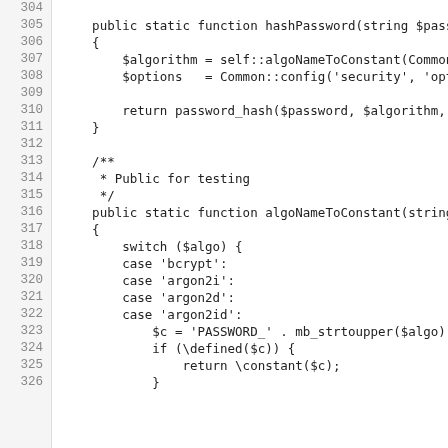[Figure (screenshot): Source code viewer showing PHP code lines 304–326. Lines include a hashPassword function and algoNameToConstant function with a switch statement handling bcrypt, argon2i, argon2d, argon2id cases.]